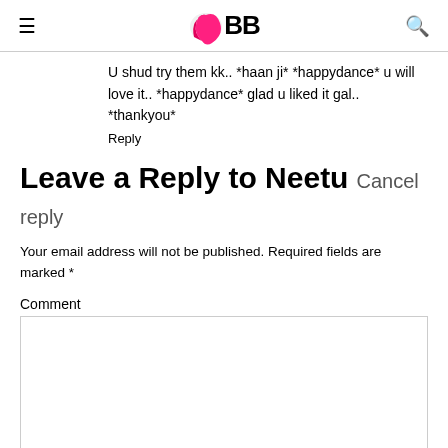IMBB
U shud try them kk.. *haan ji* *happydance* u will love it.. *happydance* glad u liked it gal.. *thankyou*
Reply
Leave a Reply to Neetu Cancel reply
Your email address will not be published. Required fields are marked *
Comment